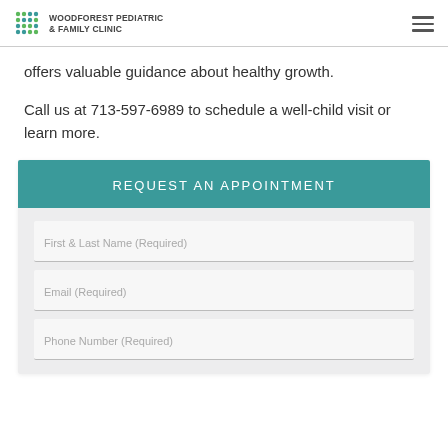Woodforest Pediatric & Family Clinic
offers valuable guidance about healthy growth.
Call us at 713-597-6989 to schedule a well-child visit or learn more.
[Figure (other): Request An Appointment form with fields: First & Last Name (Required), Email (Required), Phone Number (Required)]